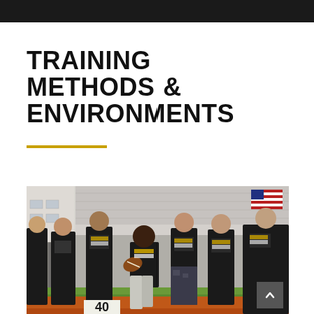TRAINING METHODS & ENVIRONMENTS
[Figure (photo): Youth football players wearing black 'Jenkins Elite' shirts training on a track/football field. One player in the center is in a running stance holding a football, surrounded by teammates who appear to be watching or waiting. A large '40' marker is visible at the bottom of the image.]